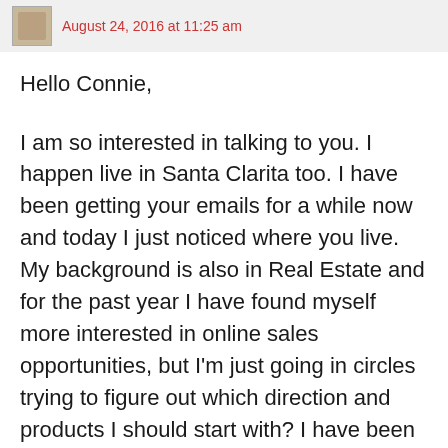August 24, 2016 at 11:25 am
Hello Connie,
I am so interested in talking to you. I happen live in Santa Clarita too. I have been getting your emails for a while now and today I just noticed where you live. My background is also in Real Estate and for the past year I have found myself more interested in online sales opportunities, but I'm just going in circles trying to figure out which direction and products I should start with? I have been reading and subscribing and collecting info. like